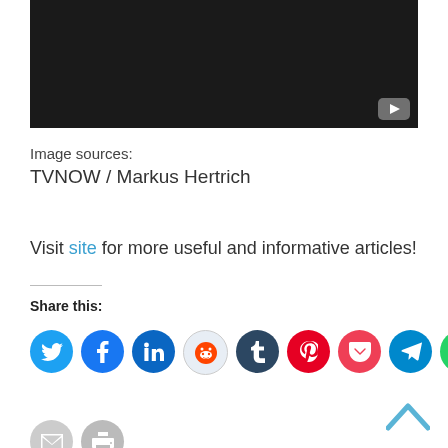[Figure (screenshot): Black video player thumbnail with a YouTube-style play button in the bottom right corner]
Image sources:
TVNOW / Markus Hertrich
Visit site for more useful and informative articles!
Share this:
[Figure (infographic): Row of social media share icons: Twitter, Facebook, LinkedIn, Reddit, Tumblr, Pinterest, Pocket, Telegram, WhatsApp, Skype, Email, Print]